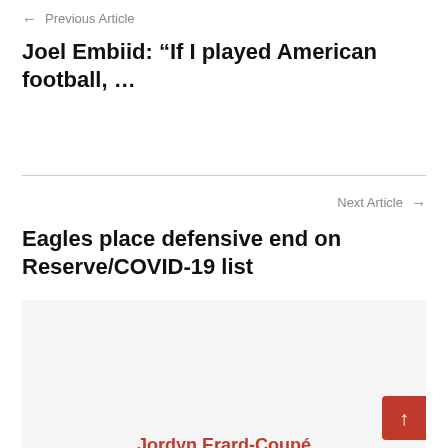← Previous Article
Joel Embiid: “If I played American football, …
Next Article →
Eagles place defensive end on Reserve/COVID-19 list
Jordyn Erard-Coupé
Jordyn Erard-Coupé, or commonly known now as SportyJordy from her YouTube channel, is a Jersey girl that lives and breathes Philadelphia Sports. Known most for